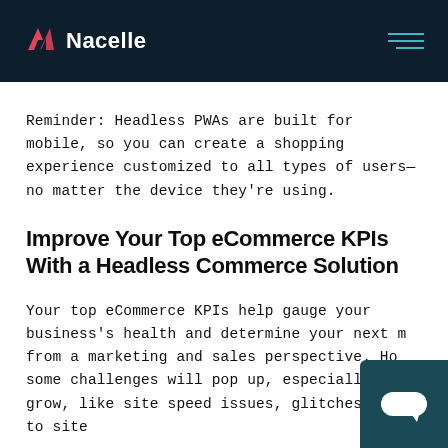Nacelle
Reminder: Headless PWAs are built for mobile, so you can create a shopping experience customized to all types of users—no matter the device they're using.
Improve Your Top eCommerce KPIs With a Headless Commerce Solution
Your top eCommerce KPIs help gauge your business's health and determine your next m... from a marketing and sales perspective. Ho... some challenges will pop up, especially as y... grow, like site speed issues, glitches due to site...